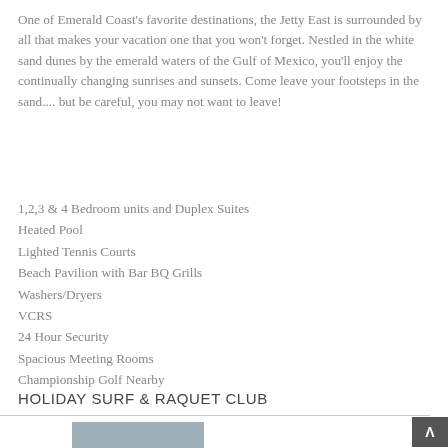One of Emerald Coast's favorite destinations, the Jetty East is surrounded by all that makes your vacation one that you won't forget. Nestled in the white sand dunes by the emerald waters of the Gulf of Mexico, you'll enjoy the continually changing sunrises and sunsets. Come leave your footsteps in the sand.... but be careful, you may not want to leave!
1,2,3 & 4 Bedroom units and Duplex Suites
Heated Pool
Lighted Tennis Courts
Beach Pavilion with Bar BQ Grills
Washers/Dryers
VCRS
24 Hour Security
Spacious Meeting Rooms
Championship Golf Nearby
HOLIDAY SURF & RAQUET CLUB
[Figure (photo): Partial photo at the bottom of the page, partially visible]